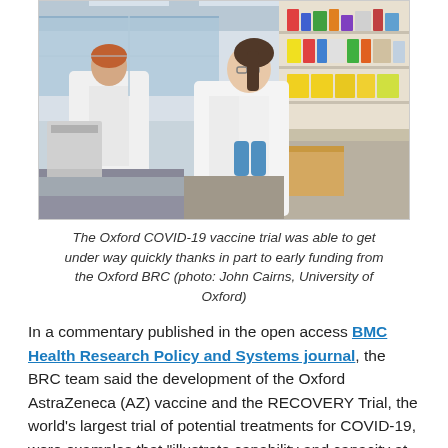[Figure (photo): Two researchers in white lab coats working in a laboratory. One person faces away at a bench on the left, another sits at a bench on the right wearing blue gloves and working with samples. Lab shelves stocked with colorful reagents and supplies are visible in the background.]
The Oxford COVID-19 vaccine trial was able to get under way quickly thanks in part to early funding from the Oxford BRC (photo: John Cairns, University of Oxford)
In a commentary published in the open access BMC Health Research Policy and Systems journal, the BRC team said the development of the Oxford AstraZeneca (AZ) vaccine and the RECOVERY Trial, the world's largest trial of potential treatments for COVID-19, were examples that "illustrate capability and capacity at an organizational and